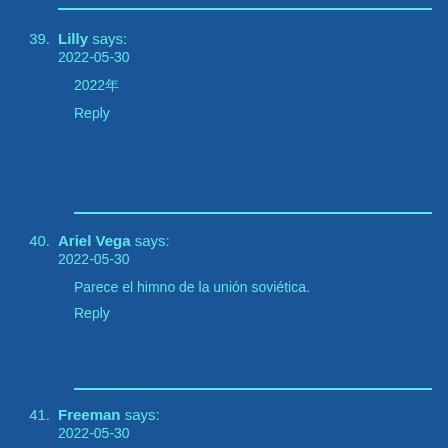39. Lilly says: 2022-05-30
2022年
Reply
40. Ariel Vega says: 2022-05-30
Parece el himno de la unión soviética.
Reply
41. Freeman says: 2022-05-30